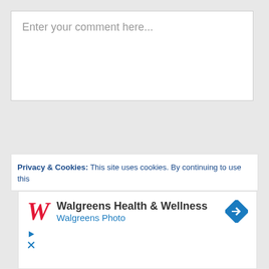Enter your comment here...
Privacy & Cookies: This site uses cookies. By continuing to use this
[Figure (screenshot): Walgreens Health & Wellness advertisement banner with Walgreens logo (red italic W), bold text 'Walgreens Health & Wellness', blue text 'Walgreens Photo', and a blue diamond navigation icon with arrow. Below are play and close controls.]